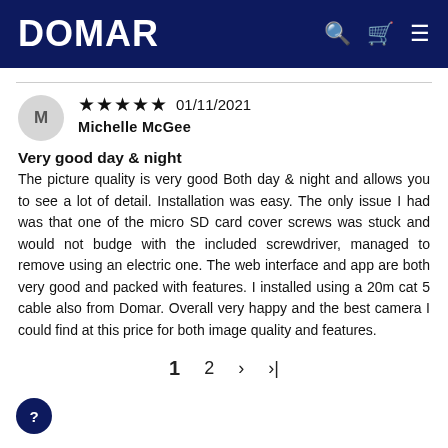DOMAR
★★★★★ 01/11/2021 Michelle McGee
Very good day & night
The picture quality is very good Both day & night and allows you to see a lot of detail. Installation was easy. The only issue I had was that one of the micro SD card cover screws was stuck and would not budge with the included screwdriver, managed to remove using an electric one. The web interface and app are both very good and packed with features. I installed using a 20m cat 5 cable also from Domar. Overall very happy and the best camera I could find at this price for both image quality and features.
1  2  >  >|